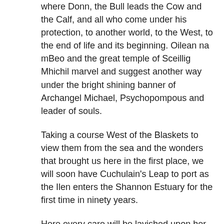where Donn, the Bull leads the Cow and the Calf, and all who come under his protection, to another world, to the West, to the end of life and its beginning. Oilean na mBeo and the great temple of Sceillig Mhichil marvel and suggest another way under the bright shining banner of Archangel Michael, Psychopompous and leader of souls.
Taking a course West of the Blaskets to view them from the sea and the wonders that brought us here in the first place, we will soon have Cuchulain's Leap to port as the Ilen enters the Shannon Estuary for the first time in ninety years.
Here every care will be lavished upon her as she prepares for her playful role of introducing Ireland's youth of all ages to the oceans, letting them ride on her back and tug her locks as they unfurl and trim her